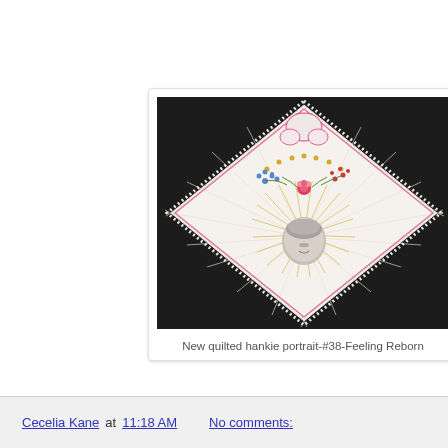[Figure (photo): A quilted handkerchief (hankie) portrait arranged in a diamond shape on a dark background. The white fabric is quilted with radiating pleats and embroidered with colorful flowers (pink rose, blue forget-me-nots, red and yellow floral sprigs) around the top. A pink embroidered border traces the diamond edge. A small sculpted or sewn face portrait of a person is centered in the lower half of the diamond, surrounded by radiating gold stitching creating a halo-like effect.]
New quilted hankie portrait-#38-Feeling Reborn
Cecelia Kane at 11:18 AM   No comments: